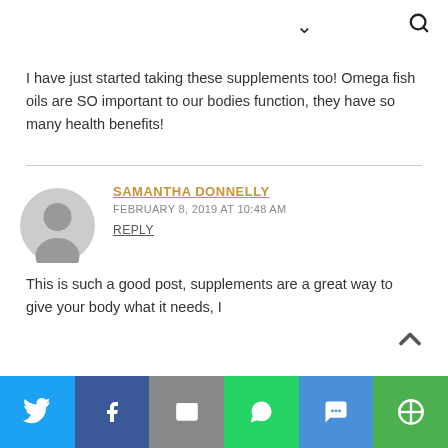chevron down icon / search icon
I have just started taking these supplements too! Omega fish oils are SO important to our bodies function, they have so many health benefits!
SAMANTHA DONNELLY
FEBRUARY 8, 2019 AT 10:48 AM
REPLY
This is such a good post, supplements are a great way to give your body what it needs, I
Social share bar: Twitter, Facebook, Email, WhatsApp, SMS, More